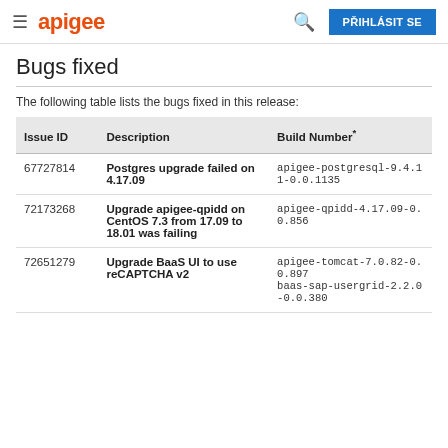≡  apigee   🔍   PŘIHLÁSIT SE
Bugs fixed
The following table lists the bugs fixed in this release:
| Issue ID | Description | Build Number* |
| --- | --- | --- |
| 67727814 | Postgres upgrade failed on 4.17.09 | apigee-postgresql-9.4.11-0.0.1135 |
| 72173268 | Upgrade apigee-qpidd on CentOS 7.3 from 17.09 to 18.01 was failing | apigee-qpidd-4.17.09-0.0.856 |
| 72651279 | Upgrade BaaS UI to use reCAPTCHA v2 | apigee-tomcat-7.0.82-0.0.897 baas-sap-usergrid-2.2.0-0.0.380 |